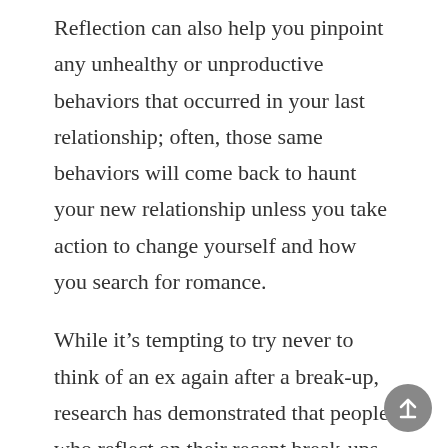Reflection can also help you pinpoint any unhealthy or unproductive behaviors that occurred in your last relationship; often, those same behaviors will come back to haunt your new relationship unless you take action to change yourself and how you search for romance.
While it's tempting to try never to think of an ex again after a break-up, research has demonstrated that people who reflect on their recent break-ups recover more quickly and easily than those who don't engage in this reflection.